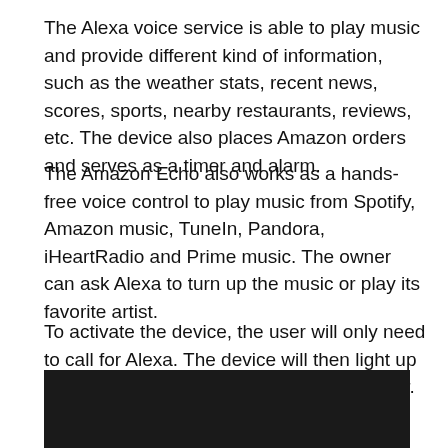The Alexa voice service is able to play music and provide different kind of information, such as the weather stats, recent news, scores, sports, nearby restaurants, reviews, etc. The device also places Amazon orders and serves as a timer and alarm.
The Amazon Echo also works as a hands-free voice control to play music from Spotify, Amazon music, TuneIn, Pandora, iHeartRadio and Prime music. The owner can ask Alexa to turn up the music or play its favorite artist.
To activate the device, the user will only need to call for Alexa. The device will then light up tp hold a simple conversation with its owner.
[Figure (screenshot): A dark video player box showing 'This video is private' message with a circle-exclamation icon.]